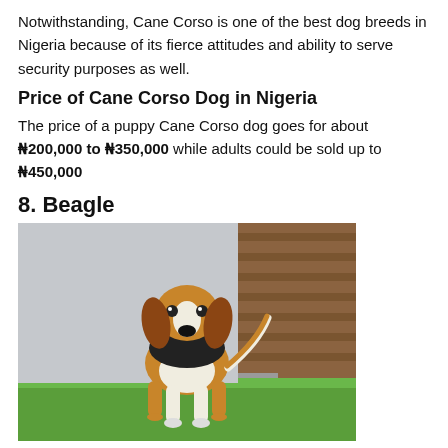Notwithstanding, Cane Corso is one of the best dog breeds in Nigeria because of its fierce attitudes and ability to serve security purposes as well.
Price of Cane Corso Dog in Nigeria
The price of a puppy Cane Corso dog goes for about ₦200,000 to ₦350,000 while adults could be sold up to ₦450,000
8. Beagle
[Figure (photo): A Beagle puppy standing on green grass in front of a wooden structure, showing typical tricolor markings of brown, black and white.]
Beagle dogs are kept mostly as pets for children to play with